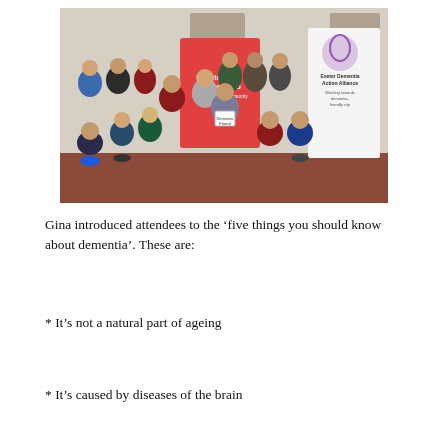[Figure (photo): Group photo of approximately 20 people posing indoors. Visible banners include 'exeter city football club' and 'Exeter Dementia Action Alliance – Working towards dementia-friendly city'. Some people in the front are holding signs. People are wearing casual and sports attire.]
Gina introduced attendees to the 'five things you should know about dementia'. These are:
* It's not a natural part of ageing
* It's caused by diseases of the brain